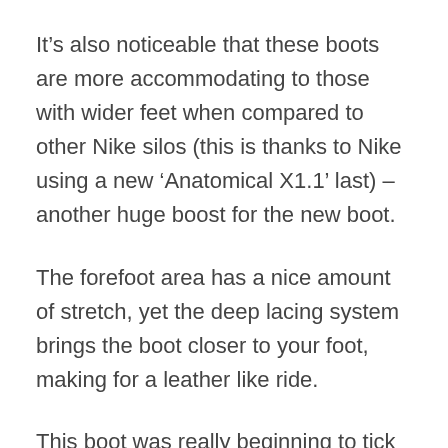It’s also noticeable that these boots are more accommodating to those with wider feet when compared to other Nike silos (this is thanks to Nike using a new ‘Anatomical X1.1’ last) – another huge boost for the new boot.
The forefoot area has a nice amount of stretch, yet the deep lacing system brings the boot closer to your foot, making for a leather like ride.
This boot was really beginning to tick all the boxes...